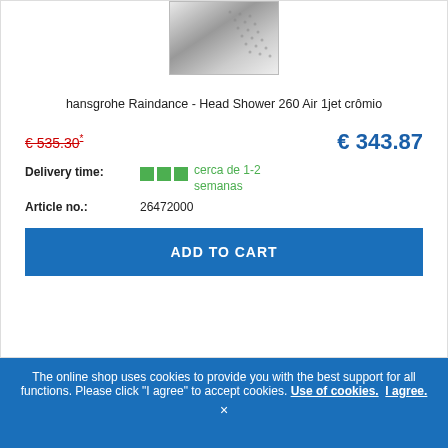[Figure (photo): Product image of hansgrohe Raindance Head Shower 260 Air 1jet, square shower head with perforation pattern, chrome finish]
hansgrohe Raindance - Head Shower 260 Air 1jet crômio
€ 535.30* € 343.87
Delivery time: cerca de 1-2 semanas
Article no.: 26472000
ADD TO CART
The online shop uses cookies to provide you with the best support for all functions. Please click "I agree" to accept cookies. Use of cookies. I agree. ×